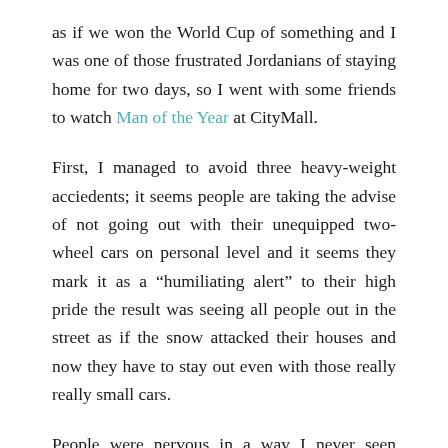as if we won the World Cup of something and I was one of those frustrated Jordanians of staying home for two days, so I went with some friends to watch Man of the Year at CityMall.
First, I managed to avoid three heavy-weight acciedents; it seems people are taking the advise of not going out with their unequipped two-wheel cars on personal level and it seems they mark it as a “humiliating alert” to their high pride the result was seeing all people out in the street as if the snow attacked their houses and now they have to stay out even with those really really small cars.
People were nervous in a way I never seen before and some people were experimenting skiing with their cars.